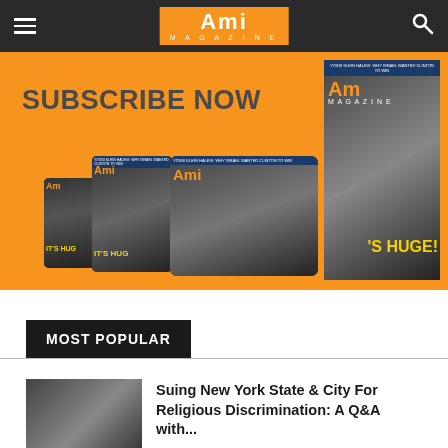Ami Magazine
[Figure (photo): Ami Magazine subscription banner with orange background showing 'SUBSCRIBE NOW' text and multiple magazine covers on phone, tablet, and print formats featuring Donald Trump on the cover with 'IT'S HUGE!' text]
MOST POPULAR
[Figure (photo): Thumbnail photo of two men in dark clothing]
Suing New York State & City For Religious Discrimination: A Q&A with...